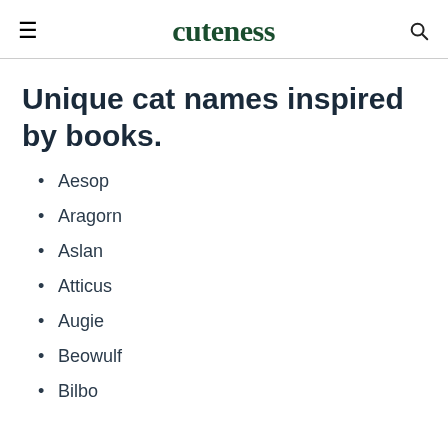cuteness
Unique cat names inspired by books.
Aesop
Aragorn
Aslan
Atticus
Augie
Beowulf
Bilbo